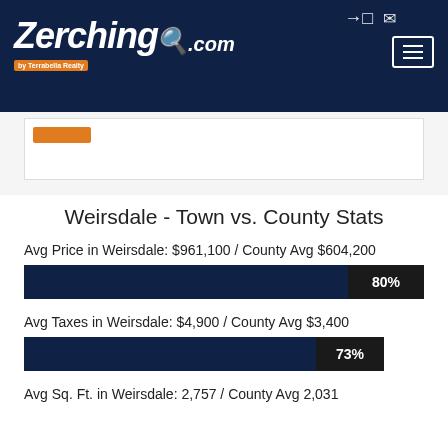Zerching by Terrabella Realty .com
[Figure (other): Ad banner with orange logo placeholder]
Weirsdale - Town vs. County Stats
Avg Price in Weirsdale: $961,100 / County Avg $604,200
[Figure (bar-chart): Avg Price bar]
Avg Taxes in Weirsdale: $4,900 / County Avg $3,400
[Figure (bar-chart): Avg Taxes bar]
Avg Sq. Ft. in Weirsdale: 2,757 / County Avg 2,031